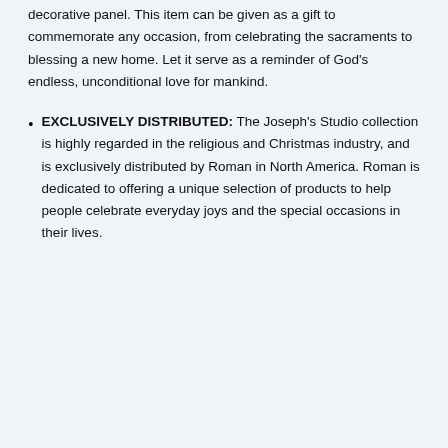decorative panel. This item can be given as a gift to commemorate any occasion, from celebrating the sacraments to blessing a new home. Let it serve as a reminder of God's endless, unconditional love for mankind.
EXCLUSIVELY DISTRIBUTED: The Joseph's Studio collection is highly regarded in the religious and Christmas industry, and is exclusively distributed by Roman in North America. Roman is dedicated to offering a unique selection of products to help people celebrate everyday joys and the special occasions in their lives.